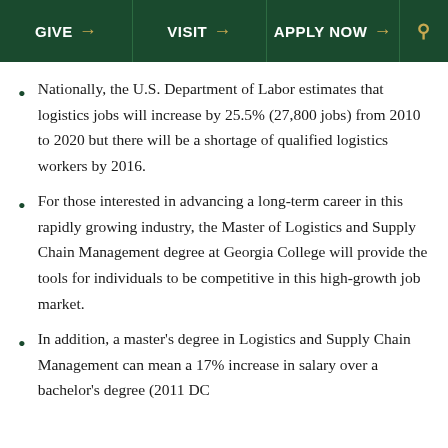GIVE → VISIT → APPLY NOW → 🔍
Nationally, the U.S. Department of Labor estimates that logistics jobs will increase by 25.5% (27,800 jobs) from 2010 to 2020 but there will be a shortage of qualified logistics workers by 2016.
For those interested in advancing a long-term career in this rapidly growing industry, the Master of Logistics and Supply Chain Management degree at Georgia College will provide the tools for individuals to be competitive in this high-growth job market.
In addition, a master's degree in Logistics and Supply Chain Management can mean a 17% increase in salary over a bachelor's degree (2011 DC